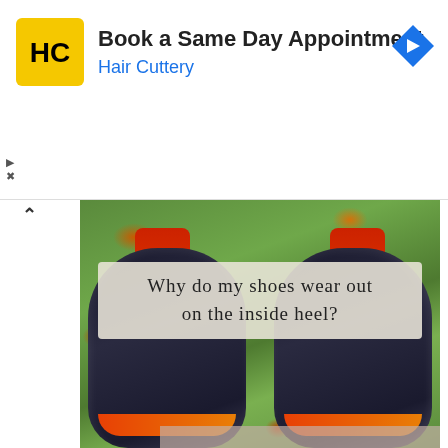[Figure (other): Hair Cuttery advertisement banner with logo, text 'Book a Same Day Appointment' and 'Hair Cuttery', and a navigation arrow icon]
Book a Same Day Appointment
Hair Cuttery
[Figure (photo): Top-down view of two dark navy/black running shoes with red/orange accents placed on grass with autumn leaves. Text overlay reads: Why do my shoes wear out on the inside heel?]